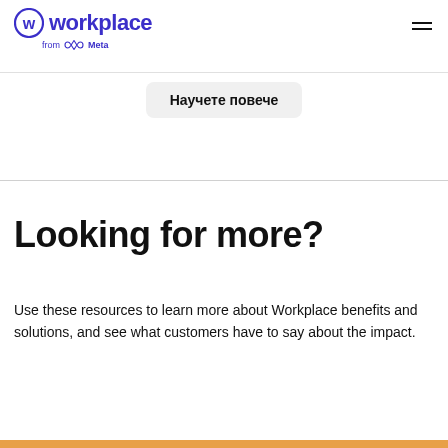workplace from Meta
Научете повече
Looking for more?
Use these resources to learn more about Workplace benefits and solutions, and see what customers have to say about the impact.